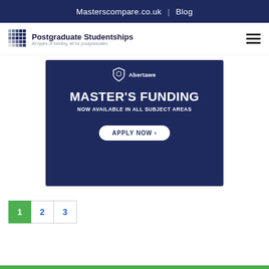Masterscompare.co.uk | Blog
[Figure (logo): Postgraduate Studentships logo with grid icon and tagline 'All types of funding, all for postgraduates']
[Figure (infographic): Swansea University / Prifysgol Abertawe advertisement banner: MASTER'S FUNDING NOW AVAILABLE IN ALL SUBJECT AREAS — APPLY NOW button]
1
2
3